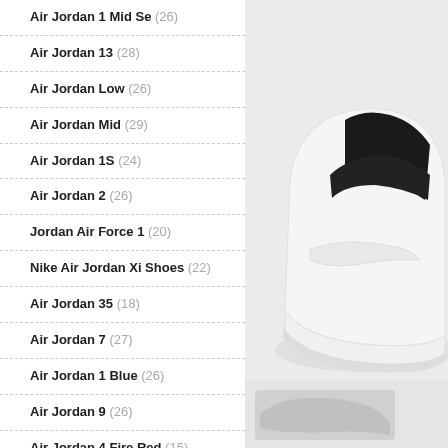Air Jordan 1 Mid Se (26)
Air Jordan 13 (28)
Air Jordan Low (26)
Air Jordan Mid (29)
Air Jordan 1S (24)
Air Jordan 2 (26)
Jordan Air Force 1 (20)
Nike Air Jordan Xi Shoes (22)
Air Jordan 35 (18)
Air Jordan 7 (27)
Air Jordan 1 Blue (26)
Air Jordan 9 (26)
Air Jordan 4 Fire Red (15)
Air Jordan One (22)
Air Jordan 11 Jubilee (9)
Air Jordan 1 Black And White (25)
[Figure (photo): Side view of an Air Jordan sneaker (white/black) on a light gray background, with a partial second shoe image at the bottom right]